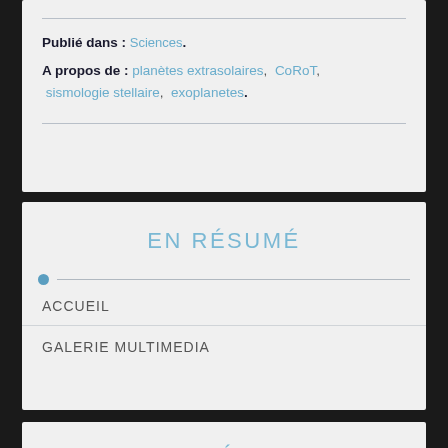Publié dans : Sciences.
A propos de : planètes extrasolaires, CoRoT, sismologie stellaire, exoplanetes.
EN RÉSUMÉ
ACCUEIL
GALERIE MULTIMEDIA
EN DÉTAIL
HISTORIQUE DES ÉVÉNEMENTS